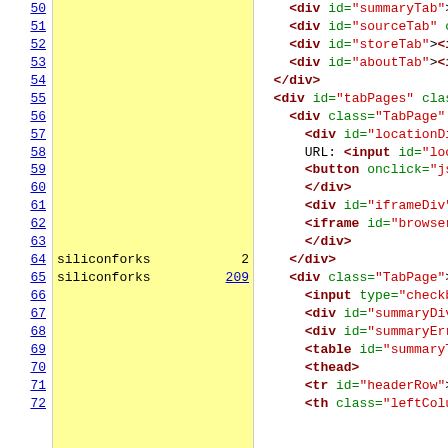[Figure (screenshot): Screenshot of a source code viewer showing HTML/JavaScript code with line numbers (50-72), coverage columns (some rows highlighted yellow with 'siliconforks' and counts 2, 209), and code content showing div/input/button/iframe/table HTML elements]
| Line | Coverage | Count | Code |
| --- | --- | --- | --- |
| 50 |  |  | <div id="summaryTab"><img id="su |
| 51 |  |  | <div id="sourceTab" class="disabl |
| 52 |  |  | <div id="storeTab"><img id="throb |
| 53 |  |  | <div id="aboutTab"><img src="jsco |
| 54 |  |  | </div> |
| 55 |  |  | <div id="tabPages" class="TabPages" |
| 56 |  |  |   <div class="TabPage" id="browserT |
| 57 |  |  |     <div id="locationDiv"> |
| 58 |  |  |     URL: <input id="location" type= |
| 59 |  |  |     <button onclick="jscoverage_but |
| 60 |  |  |     </div> |
| 61 |  |  |     <div id="iframeDiv"> |
| 62 |  |  |     <iframe id="browserIframe" onlo |
| 63 |  |  |     </div> |
| 64 | siliconforks | 2 | </div> |
| 65 | siliconforks | 209 | <div class="TabPage"> |
| 66 |  |  |   <input type="checkbox" id="chec |
| 67 |  |  |   <div id="summaryDiv"> |
| 68 |  |  |   <div id="summaryErrorDiv"></div |
| 69 |  |  |   <table id="summaryTable"> |
| 70 |  |  |   <thead> |
| 71 |  |  |   <tr id="headerRow"> |
| 72 |  |  |   <th class="leftColumn">Files |